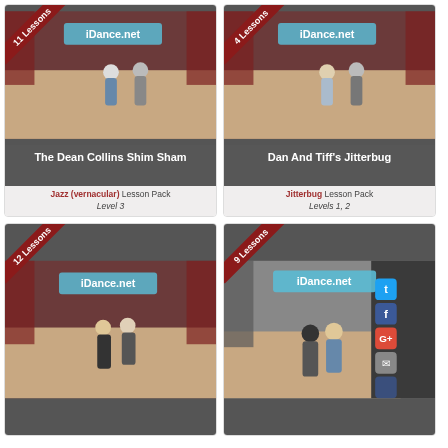[Figure (photo): Card 1: Dance lesson thumbnail showing two dancers on stage with '11 Lessons' ribbon badge and iDance.net banner]
The Dean Collins Shim Sham
Jazz (vernacular) Lesson Pack Level 3
[Figure (photo): Card 2: Dance lesson thumbnail showing two dancers on stage with '4 Lessons' ribbon badge and iDance.net banner]
Dan And Tiff's Jitterbug
Jitterbug Lesson Pack Levels 1, 2
[Figure (photo): Card 3: Dance lesson thumbnail showing couple dancing on stage with '12 Lessons' ribbon badge and iDance.net banner]
[Figure (photo): Card 4: Dance lesson thumbnail showing couple dancing on stage with '9 Lessons' ribbon badge, iDance.net banner, and social media icons]